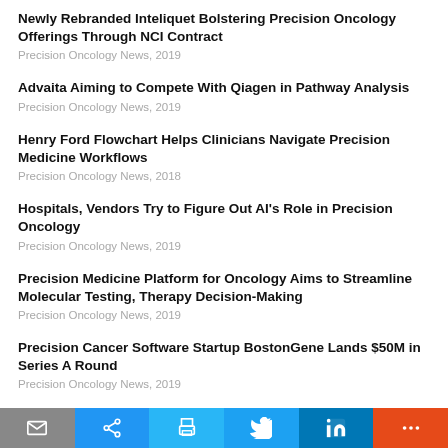Newly Rebranded Inteliquet Bolstering Precision Oncology Offerings Through NCI Contract
Precision Oncology News, 2019
Advaita Aiming to Compete With Qiagen in Pathway Analysis
Precision Oncology News, 2019
Henry Ford Flowchart Helps Clinicians Navigate Precision Medicine Workflows
Precision Oncology News, 2018
Hospitals, Vendors Try to Figure Out AI's Role in Precision Oncology
Precision Oncology News, 2019
Precision Medicine Platform for Oncology Aims to Streamline Molecular Testing, Therapy Decision-Making
Precision Oncology News, 2019
Precision Cancer Software Startup BostonGene Lands $50M in Series A Round
Precision Oncology News, 2019
Tempus Ramps Up AI-Driven Precision Oncology, Eyes Other Markets
Precision Oncology News, 2018